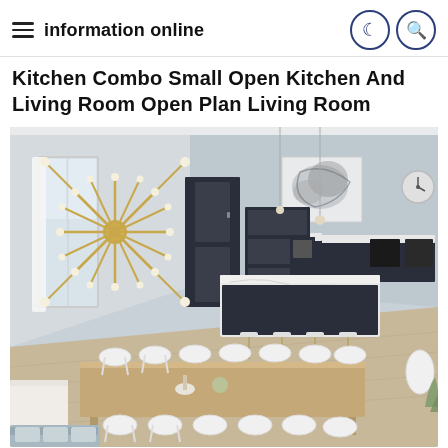information online
Kitchen Combo Small Open Kitchen And Living Room Open Plan Living Room
[Figure (photo): Aerial view of a modern open-plan kitchen and living room featuring a gold sputnik chandelier, dark navy cabinets, large marble island with bar stools, a long wooden dining table with white wishbone chairs, and abstract art on the wall.]